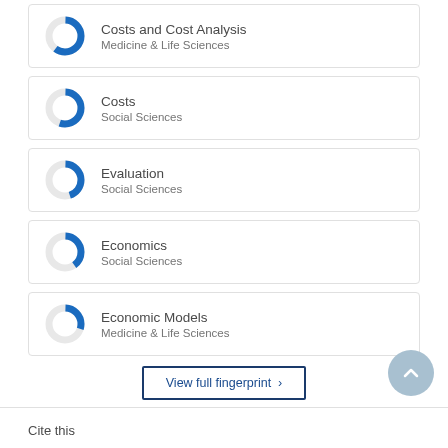[Figure (donut-chart): Donut chart approx 60% filled blue]
Costs and Cost Analysis
Medicine & Life Sciences
[Figure (donut-chart): Donut chart approx 55% filled blue]
Costs
Social Sciences
[Figure (donut-chart): Donut chart approx 45% filled blue]
Evaluation
Social Sciences
[Figure (donut-chart): Donut chart approx 40% filled blue]
Economics
Social Sciences
[Figure (donut-chart): Donut chart approx 30% filled blue]
Economic Models
Medicine & Life Sciences
View full fingerprint >
Cite this